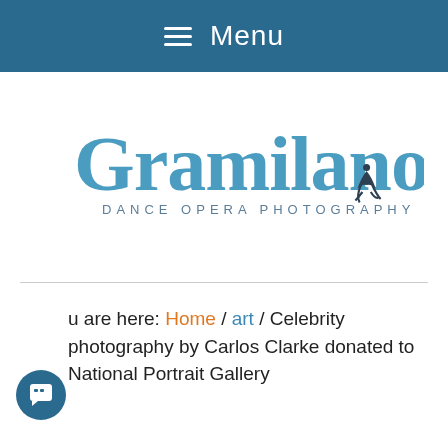≡ Menu
[Figure (logo): Gramilano logo with text 'DANCE OPERA PHOTOGRAPHY' and a small dancer silhouette illustration]
You are here: Home / art / Celebrity photography by Carlos Clarke donated to National Portrait Gallery